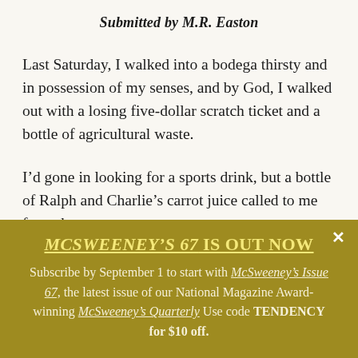Submitted by M.R. Easton
Last Saturday, I walked into a bodega thirsty and in possession of my senses, and by God, I walked out with a losing five-dollar scratch ticket and a bottle of agricultural waste.
I’d gone in looking for a sports drink, but a bottle of Ralph and Charlie’s carrot juice called to me from the
MCSWEENEY’S 67 IS OUT NOW
Subscribe by September 1 to start with McSweeney’s Issue 67, the latest issue of our National Magazine Award-winning McSweeney’s Quarterly Use code TENDENCY for $10 off.